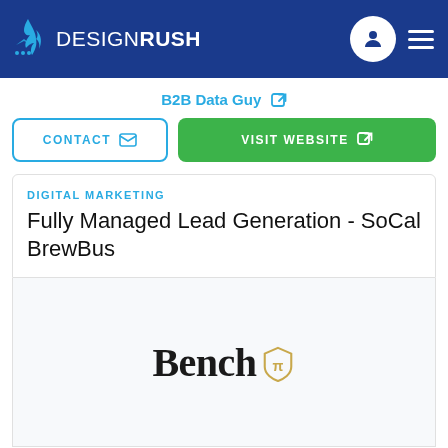DESIGNRUSH
B2B Data Guy
CONTACT  VISIT WEBSITE
DIGITAL MARKETING
Fully Managed Lead Generation - SoCal BrewBus
[Figure (logo): Bench logo with shield icon in gold/yellow]